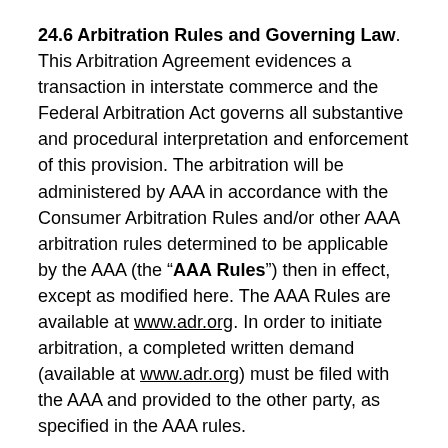24.6 Arbitration Rules and Governing Law. This Arbitration Agreement evidences a transaction in interstate commerce and the Federal Arbitration Act governs all substantive and procedural interpretation and enforcement of this provision. The arbitration will be administered by AAA in accordance with the Consumer Arbitration Rules and/or other AAA arbitration rules determined to be applicable by the AAA (the “AAA Rules”) then in effect, except as modified here. The AAA Rules are available at www.adr.org. In order to initiate arbitration, a completed written demand (available at www.adr.org) must be filed with the AAA and provided to the other party, as specified in the AAA rules.
24.7 Modification to AAA Rules - Arbitration